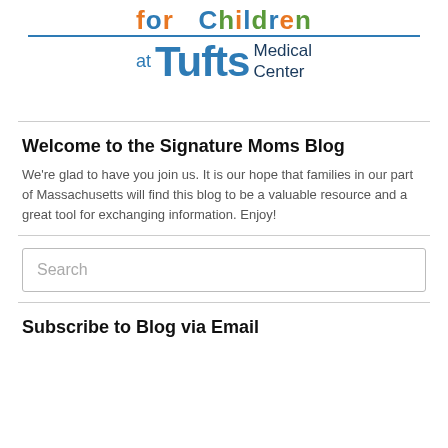[Figure (logo): Floating Hospital for Children at Tufts Medical Center logo with colorful lettering]
Welcome to the Signature Moms Blog
We're glad to have you join us. It is our hope that families in our part of Massachusetts will find this blog to be a valuable resource and a great tool for exchanging information. Enjoy!
Search
Subscribe to Blog via Email